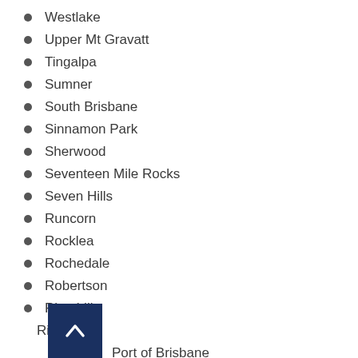Westlake
Upper Mt Gravatt
Tingalpa
Sumner
South Brisbane
Sinnamon Park
Sherwood
Seventeen Mile Rocks
Seven Hills
Runcorn
Rocklea
Rochedale
Robertson
Riverhills
Richlands
Port of Brisbane